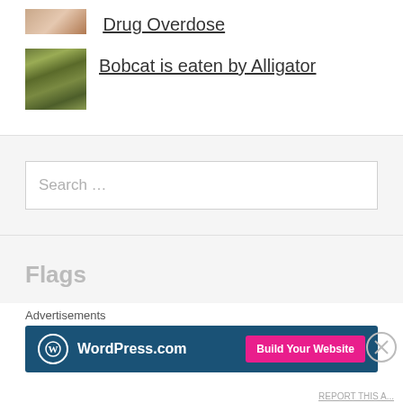[Figure (photo): Partial thumbnail image of an article about Drug Overdose]
Drug Overdose
[Figure (photo): Thumbnail image of a bobcat in a natural outdoor setting]
Bobcat is eaten by Alligator
Search ...
Flags
Advertisements
[Figure (screenshot): WordPress.com advertisement banner with Build Your Website button]